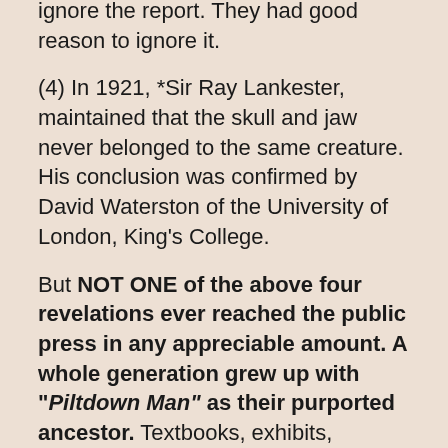ignore the report. They had good reason to ignore it.
(4) In 1921, *Sir Ray Lankester, maintained that the skull and jaw never belonged to the same creature. His conclusion was confirmed by David Waterston of the University of London, King's College.
But NOT ONE of the above four revelations ever reached the public press in any appreciable amount. A whole generation grew up with "Piltdown Man" as their purported ancestor. Textbooks, exhibits, displays, encyclopedias-- all spread the good news that we came from apes after all.